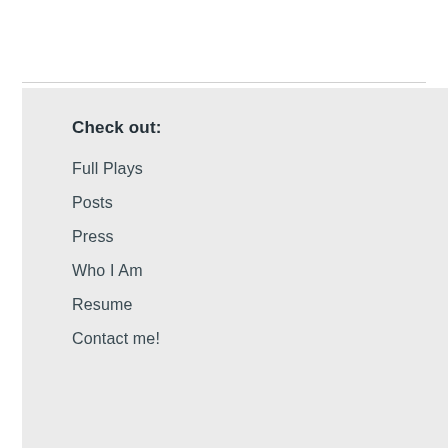Check out:
Full Plays
Posts
Press
Who I Am
Resume
Contact me!